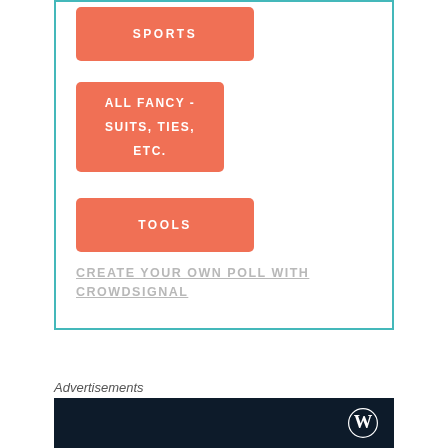[Figure (infographic): Poll widget with teal border containing three orange/salmon colored buttons labeled SPORTS, ALL FANCY - SUITS, TIES, ETC., and TOOLS, plus a link to CREATE YOUR OWN POLL WITH CROWDSIGNAL]
CREATE YOUR OWN POLL WITH CROWDSIGNAL
Advertisements
[Figure (screenshot): Dark navy advertisement box with WordPress logo on the right]